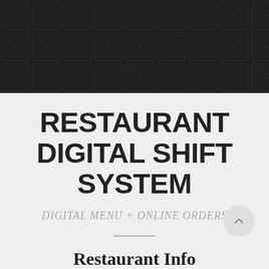[Figure (illustration): Dark quilted/grid pattern header background, dark grey/black color with subtle grid lines forming a diamond-stitch pattern]
RESTAURANT DIGITAL SHIFT SYSTEM
DIGITAL MENU + ONLINE ORDERS
Restaurant Info